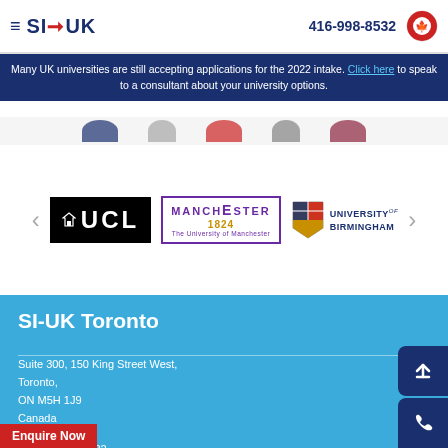SI-UK  416-998-8532
Many UK universities are still accepting applications for the 2022 intake. Click here to speak to a consultant about your university options.
[Figure (logo): University logos carousel: UCL, University of Manchester 1824, University of Birmingham]
SI-UK Toronto
Suite 300, 150 King Street West, Toronto, ON M5H 1J9 Canada
Tel: 416-998-8532
Email: applications@studyin-uk.com
Enquire Now